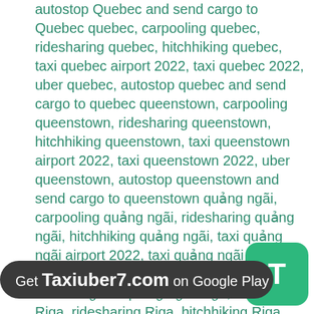autostop Quebec and send cargo to Quebec quebec, carpooling quebec, ridesharing quebec, hitchhiking quebec, taxi quebec airport 2022, taxi quebec 2022, uber quebec, autostop quebec and send cargo to quebec queenstown, carpooling queenstown, ridesharing queenstown, hitchhiking queenstown, taxi queenstown airport 2022, taxi queenstown 2022, uber queenstown, autostop queenstown and send cargo to queenstown quảng ngãi, carpooling quảng ngãi, ridesharing quảng ngãi, hitchhiking quảng ngãi, taxi quảng ngãi airport 2022, taxi quảng ngãi 2022, uber quảng ngãi, autostop quảng ngãi and send cargo to quảng ngãi Riga, carpooling Riga, ridesharing Riga, hitchhiking Riga, taxi Riga airport 2022, taxi Riga 2022, uber Riga, autostop Riga and send cargo to Riga Roma, carpooling Roma, ridesharing Roma, hitchhiking Roma, taxi Roma airport 2022, taxi Roma 2022, uber Roma, autostop Roma and send cargo to Roma Rome, carpooling Rome, ridesharing Rome, hitchhiking Rome, taxi Rome airport 2022, taxi Rome 2022, uber Rome, autostop Rome and send cargo to Rome regina, carpooling regina, ridesharing regina, hitchhiking regina, taxi regina airport 2022, taxi regina
[Figure (other): Green rounded button with white letter T, representing Taxiuber7 app icon]
Get Taxiuber7.com on Google Play